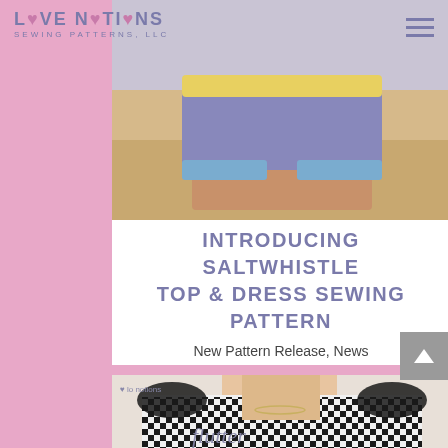[Figure (photo): Website header showing Love Notions Sewing Patterns LLC logo and hamburger menu, with a beach photo of person wearing purple shorts with yellow waistband and denim cuffs]
INTRODUCING SALTWHISTLE TOP & DRESS SEWING PATTERN
New Pattern Release, News
[Figure (photo): Bottom portion of second blog post card showing a blonde woman in a black and white gingham top with ruffle sleeves, partially visible script text below]